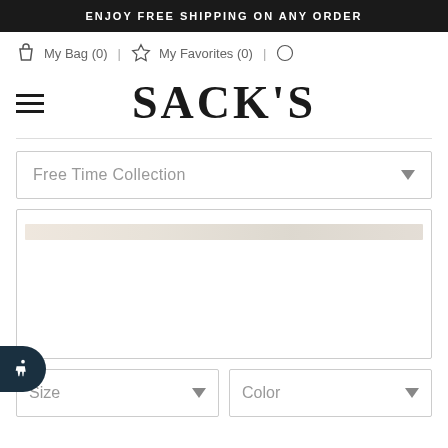ENJOY FREE SHIPPING ON ANY ORDER
My Bag (0) | My Favorites (0) | Search
SACK'S
Free Time Collection (dropdown)
[Figure (other): Product image placeholder with a light beige/tan horizontal bar inside a bordered box]
Size (dropdown) | Color (dropdown)